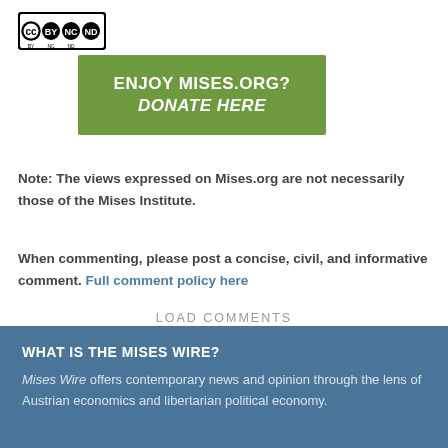[Figure (logo): Creative Commons BY NC ND license badge]
[Figure (infographic): Green banner reading ENJOY MISES.ORG? DONATE HERE]
Note: The views expressed on Mises.org are not necessarily those of the Mises Institute.
When commenting, please post a concise, civil, and informative comment. Full comment policy here
LOAD COMMENTS
WHAT IS THE MISES WIRE?
Mises Wire offers contemporary news and opinion through the lens of Austrian economics and libertarian political economy.